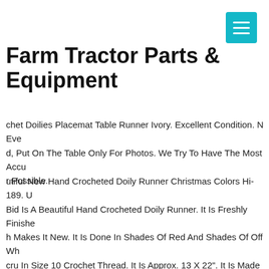[Figure (other): Teal/cyan hamburger menu button icon in top right corner]
Farm Tractor Parts & Equipment
chet Doilies Placemat Table Runner Ivory. Excellent Condition. N Eve d, Put On The Table Only For Photos. We Try To Have The Most Accu r Possible.
utiful New Hand Crocheted Doily Runner Christmas Colors Hi-189. U Bid Is A Beautiful Hand Crocheted Doily Runner. It Is Freshly Finishe h Makes It New. It Is Done In Shades Of Red And Shades Of Off Wh cru In Size 10 Crochet Thread. It Is Approx. 13 X 22". It Is Made Of M e Flowers. The Second Row Of The Flower Is Popcorn Stitch So They The Filler Flowers Are All In Shades Of Off White And Ecru. It Is Ligh ched. I Thought Made In Shades Of Red It Might Fit Into Hoiliday De A Skilled Crocheter, But Have To Admit I Hate Ironing And Preparin m. You May Need To Do Some Touch Up Ironing When You Recieve . Please Know That Some Of My Doilies Are Made With My Scraps A